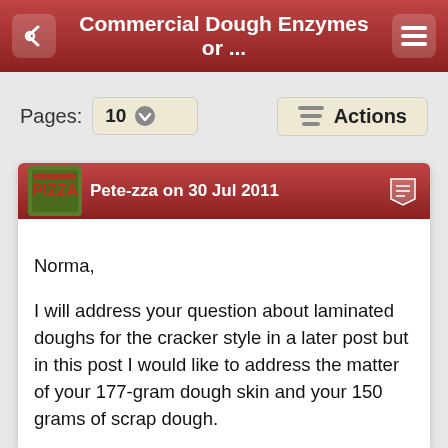Commercial Dough Enzymes or ...
Pages: 10
Actions
Pete-zza on 30 Jul 2011
Norma,

I will address your question about laminated doughs for the cracker style in a later post but in this post I would like to address the matter of your 177-gram dough skin and your 150 grams of scrap dough.

As you know, the way I practice DKM's recipe is math-centric. By that, I mean that I try to achieve a specific thickness factor for the skin that is to be used to make the cracker style pizza. That is the only way I know to do it to have a reasonable chance of